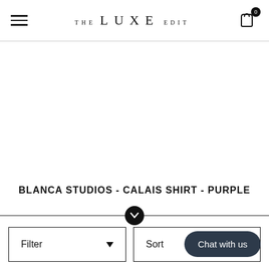THE LUXE EDIT
BLANCA STUDIOS - CALAIS SHIRT - PURPLE
Filter
Sort
Chat with us